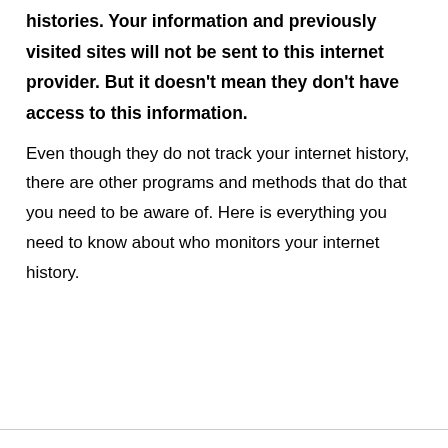histories. Your information and previously visited sites will not be sent to this internet provider. But it doesn't mean they don't have access to this information.
Even though they do not track your internet history, there are other programs and methods that do that you need to be aware of. Here is everything you need to know about who monitors your internet history.